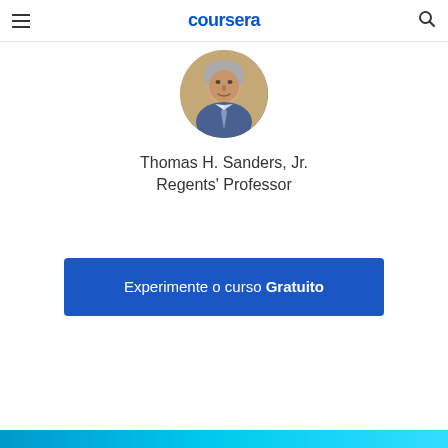coursera
[Figure (photo): Circular profile photo of Thomas H. Sanders Jr., an older man with gray hair wearing a blue shirt and tie, on a tan/beige background]
Thomas H. Sanders, Jr.
Regents' Professor
Experimente o curso Gratuito